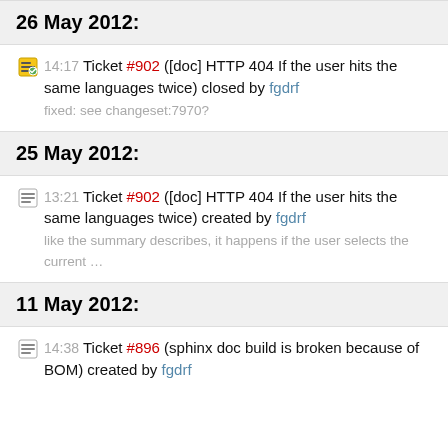26 May 2012:
14:17 Ticket #902 ([doc] HTTP 404 If the user hits the same languages twice) closed by fgdrf
fixed: see changeset:7970?
25 May 2012:
13:21 Ticket #902 ([doc] HTTP 404 If the user hits the same languages twice) created by fgdrf
like the summary describes, it happens if the user selects the current …
11 May 2012:
14:38 Ticket #896 (sphinx doc build is broken because of BOM) created by fgdrf